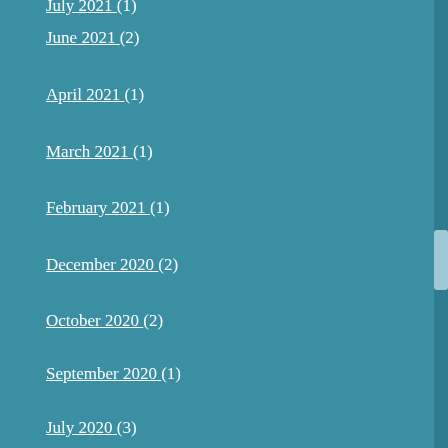July 2021 (1)
June 2021 (2)
April 2021 (1)
March 2021 (1)
February 2021 (1)
December 2020 (2)
October 2020 (2)
September 2020 (1)
July 2020 (3)
June 2020 (4)
May 2020 (2)
April 2020 (4)
March 2020 (3)
February 2020 (2)